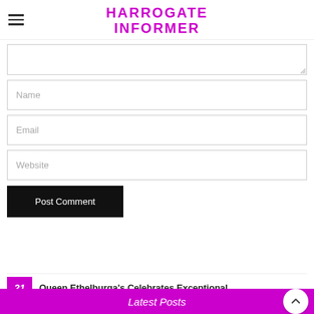HARROGATE INFORMER
[Figure (screenshot): Web form with textarea (comment), Name, Email, Website input fields, and a Post Comment button]
Name
Email
Website
Post Comment
Latest Posts
Queen Ethelburga's Celebrates Exceptional